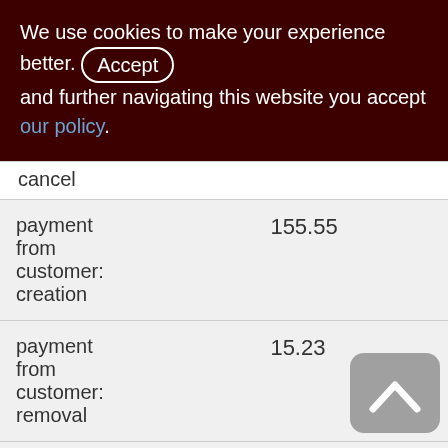We use cookies to make your experience better. By accepting and further navigating this website you accept our policy.
|  |  |
| --- | --- |
| cancel |  |
| payment from customer: creation | 155.55 |
| payment from customer: removal | 15.23 |
| payment to supplier: | 129.30 |